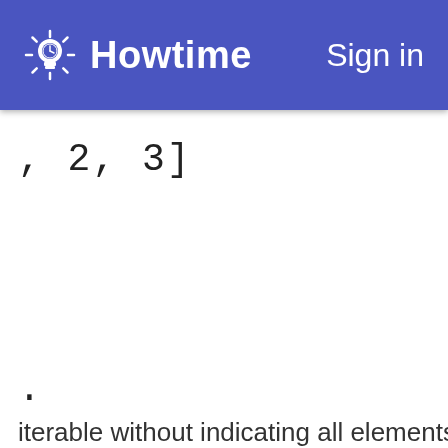Howtime  Sign in
, 2, 3]
.
iterable without indicating all elements